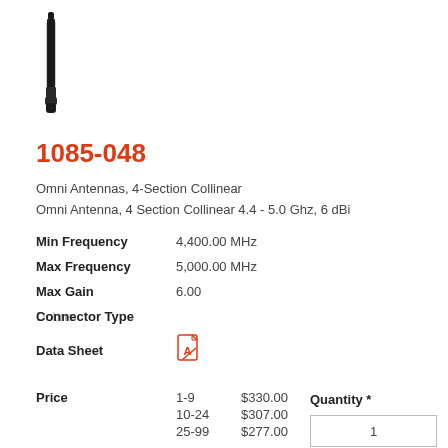[Figure (photo): Black antenna product photo, tall and thin, vertical orientation]
1085-048
Omni Antennas, 4-Section Collinear
Omni Antenna, 4 Section Collinear 4.4 - 5.0 Ghz, 6 dBi
| Min Frequency | 4,400.00 MHz |
| Max Frequency | 5,000.00 MHz |
| Max Gain | 6.00 |
| Connector Type |  |
| Data Sheet |  |
| Price | Qty | Price | Quantity * |
| --- | --- | --- | --- |
|  | 1-9 | $330.00 |  |
|  | 10-24 | $307.00 |  |
|  | 25-99 | $277.00 | 1 |